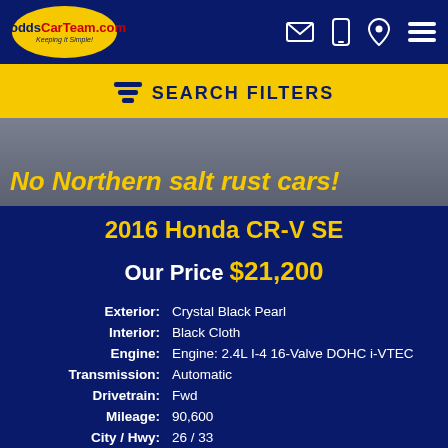[Figure (logo): ToddsCarTeam.com logo in yellow oval with blue background navigation bar containing email, phone, location, and menu icons]
SEARCH FILTERS
[Figure (photo): Gray background image with yellow italic bold text: No Northern salt rust cars!]
2016 Honda CR-V SE
Our Price $21,200
| Exterior: | Crystal Black Pearl |
| Interior: | Black Cloth |
| Engine: | Engine: 2.4L I-4 16-Valve DOHC i-VTEC |
| Transmission: | Automatic |
| Drivetrain: | Fwd |
| Mileage: | 90,600 |
| City / Hwy: | 26 / 33 |
| VIN: | 2HKRM3H48GH529827 |